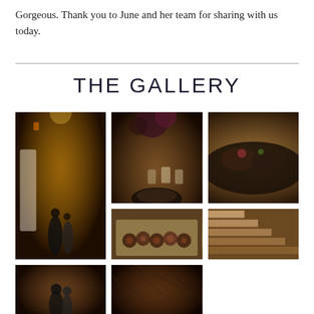Gorgeous. Thank you to June and her team for sharing with us today.
THE GALLERY
[Figure (photo): Wedding couple in a rustic barn venue with hanging lanterns and white drapes]
[Figure (photo): Dark floral centerpiece with candles and food plate on a table setting]
[Figure (photo): Close-up of a food dish on a dark plate with garnishes]
[Figure (photo): Tray of small appetizers/canapes on a wooden board]
[Figure (photo): Wooden stairs in a rustic venue]
[Figure (photo): Couple in a dark venue with decorative elements]
[Figure (photo): Dark venue interior with decorative branches]